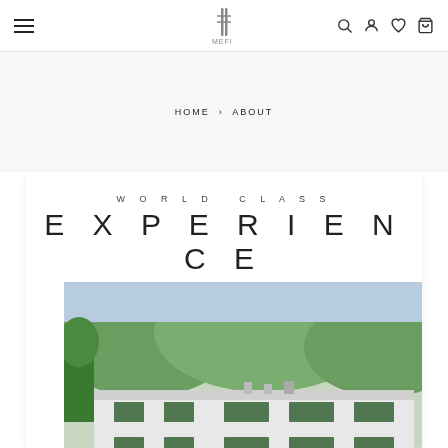MBFI logo, hamburger menu, search, account, wishlist, cart icons
HOME › ABOUT
WORLD CLASS EXPERIENCE
[Figure (photo): Aerial/elevated view of a white industrial or commercial building with green-trimmed windows, surrounded by trees and hills in the background]